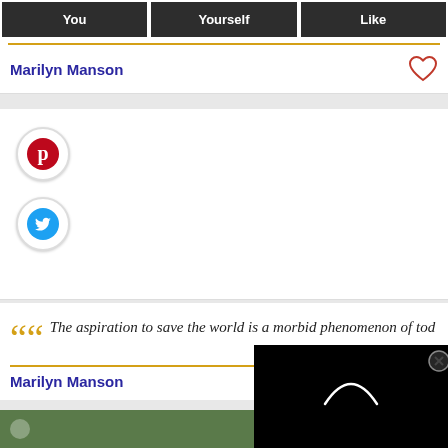You | Yourself | Like
Marilyn Manson
[Figure (other): Pinterest social share button (red circle with white P logo)]
[Figure (other): Twitter social share button (blue circle with white bird logo)]
““The aspiration to save the world is a morbid phenomenon of tod...
Marilyn Manson
[Figure (other): Black video loading overlay with spinning arc and close button]